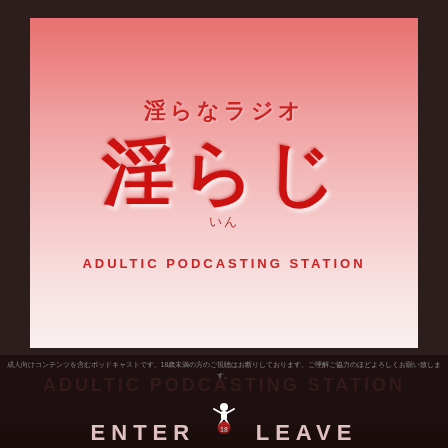[Figure (illustration): Square album/podcast cover art with pink-to-white gradient background. Contains Japanese text '淫らなラジオ' as subtitle, '淫らじ' as large main title in red, phonetic reading 'いん' below, and 'ADULTIC PODCASTING STATION' text at bottom.]
成人向けコンテンツを含むポッドキャストです。18歳未満の方のご視聴はお断りしております。ご理解ご協力のほどよろしくお願い致します。
ADULTIC PODCASTING STATION
[Figure (logo): Logo showing a figure with raised hands and '18' age restriction badge]
ENTER   LEAVE